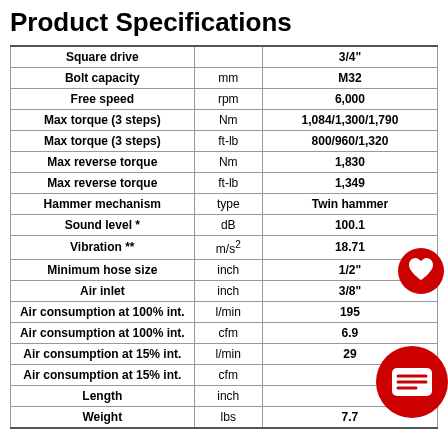Product Specifications
|  |  |  |
| --- | --- | --- |
| Square drive |  | 3/4" |
| Bolt capacity | mm | M32 |
| Free speed | rpm | 6,000 |
| Max torque (3 steps) | Nm | 1,084/1,300/1,790 |
| Max torque (3 steps) | ft-lb | 800/960/1,320 |
| Max reverse torque | Nm | 1,830 |
| Max reverse torque | ft-lb | 1,349 |
| Hammer mechanism | type | Twin hammer |
| Sound level * | dB | 100.1 |
| Vibration ** | m/s² | 18.71 |
| Minimum hose size | inch | 1/2" |
| Air inlet | inch | 3/8" |
| Air consumption at 100% int. | l/min | 195 |
| Air consumption at 100% int. | cfm | 6.9 |
| Air consumption at 15% int. | l/min | 29 |
| Air consumption at 15% int. | cfm |  |
| Length | inch |  |
| Weight | lbs | 7.7 |